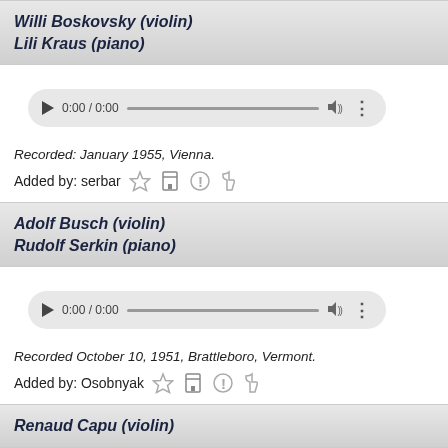Willi Boskovsky (violin)
Lili Kraus (piano)
[Figure (other): Audio player widget showing 0:00 / 0:00 with play button, progress bar, volume and menu icons]
Recorded: January 1955, Vienna.
Added by: serbar
Adolf Busch (violin)
Rudolf Serkin (piano)
[Figure (other): Audio player widget showing 0:00 / 0:00 with play button, progress bar, volume and menu icons]
Recorded October 10, 1951, Brattleboro, Vermont.
Added by: Osobnyak
Renaud Capu (violin)